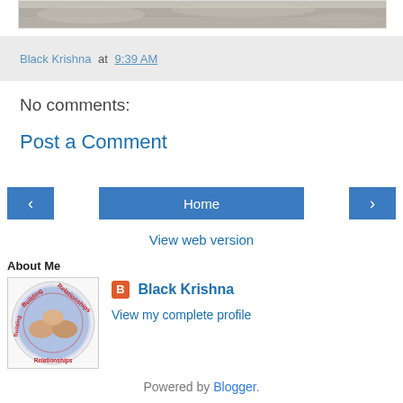[Figure (photo): Top portion of a blog post image showing sandy/rocky ground texture]
Black Krishna at 9:39 AM
No comments:
Post a Comment
< Home >
View web version
About Me
[Figure (logo): Building Relationships circular logo with hands joined]
Black Krishna
View my complete profile
Powered by Blogger.